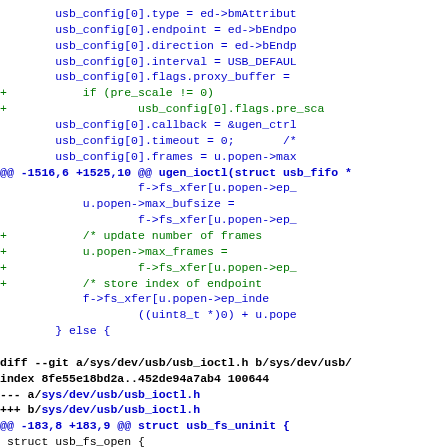Code diff showing changes to usb_config setup and ugen_ioctl function, plus diff header for usb_ioctl.h